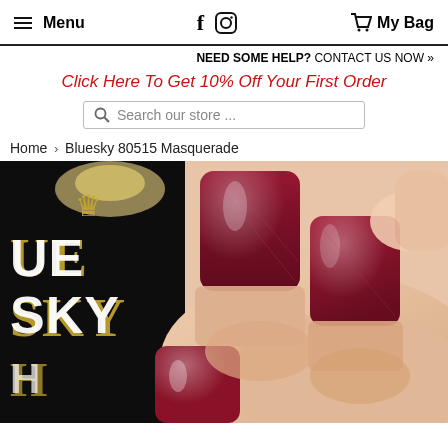Menu | [social icons] | My Bag
NEED SOME HELP? CONTACT US NOW »
Click Here To Get 10% Off Your First Order
Search our store ...
Home › Bluesky 80515 Masquerade
[Figure (photo): Close-up photo of a hand with deep red/burgundy shimmer gel nail polish (Bluesky 80515 Masquerade) on squared nails, next to a black Bluesky nail polish bottle with gold logo text visible.]